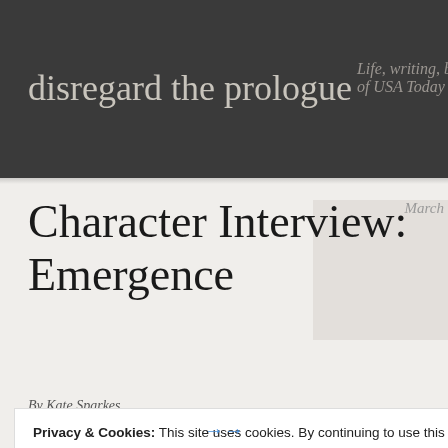disregard the prologue
Life, writing, b... of USA Today
Character Interview: Emergence
By Kate Sparkes
Privacy & Cookies: This site uses cookies. By continuing to use this website, you agree to their use.
To find out more, including how to control cookies, see here: Cookie Policy
Close and accept